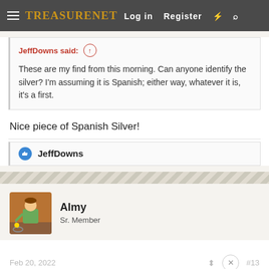TreasureNet | Log in | Register
JeffDowns said: These are my find from this morning. Can anyone identify the silver? I'm assuming it is Spanish; either way, whatever it is, it's a first.
Nice piece of Spanish Silver!
JeffDowns
Almy
Sr. Member
Feb 20, 2022  #13